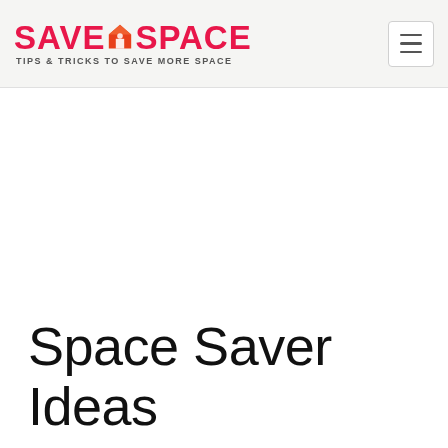SAVESPACE TIPS & TRICKS TO SAVE MORE SPACE
Space Saver Ideas